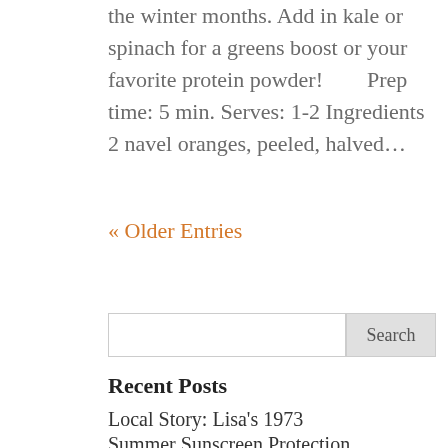the winter months. Add in kale or spinach for a greens boost or your favorite protein powder!        Prep time: 5 min. Serves: 1-2 Ingredients 2 navel oranges, peeled, halved…
« Older Entries
Search
Recent Posts
Local Story: Lisa's 1973
Summer Sunscreen Protection